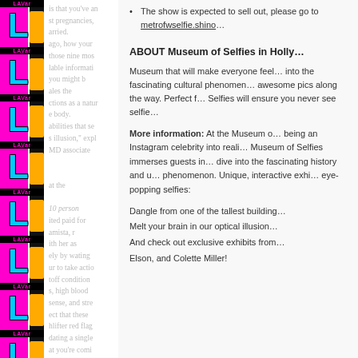[Figure (illustration): Decorative left column with repeating LAVar magazine branding blocks — alternating pink/cyan/black color blocks with large letter L and LAVar text labels, stacked vertically.]
The show is expected to sell out, please go to metrofwselfie.shino… to purchase tickets
ABOUT Museum of Selfies in Holly…
Museum that will make everyone feel… into the fascinating cultural phenomen… awesome pics along the way. Perfect f… Selfies will ensure you never see selfie…
More information: At the Museum o… being an Instagram celebrity into reali… Museum of Selfies immerses guests in… dive into the fascinating history and u… phenomenon. Unique, interactive exhi… eye-popping selfies:
Dangle from one of the tallest building…
Melt your brain in our optical illusion…
And check out exclusive exhibits from… Elson, and Colette Miller!